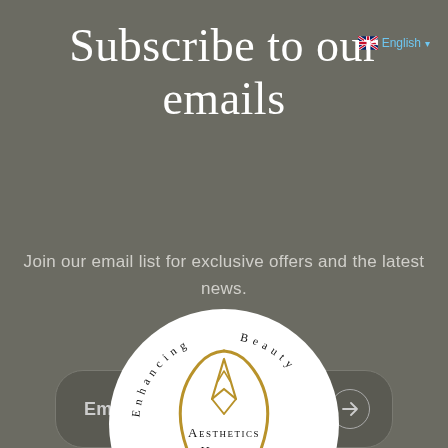🇬🇧 English ▾
Subscribe to our emails
Join our email list for exclusive offers and the latest news.
Email →
[Figure (logo): Aesthetics Health circular logo with gold flame/arch design and curved text reading 'Enhancing Beauty' around the inside of the circle]